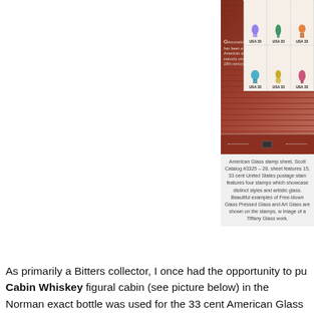[Figure (photo): American Glass stamp sheet showing colorful glass vases and bottles on USA 33 cent postage stamps, with a red-brown background featuring a glassmaking scene and text reading 'Glassmaking has been a vital American art and industry since the 18th century.']
American Glass stamp sheet, Scott Catalog #3325 – 28. sheet features 15, 33 cent United States postage stamps features four stamps which showcase distinct styles and artistic glass. Beautiful examples of Free-blown Glass Pressed Glass and Art Glass are shown on the stamps, w image of a Tiffany Glass work.
As primarily a Bitters collector, I once had the opportunity to pu Cabin Whiskey figural cabin (see picture below) in the Norman exact bottle was used for the 33 cent American Glass postage st Richard Sheaf about a decade ago. This same bottle has also be Museum of Glass in Corning, New York and and was once own
Talk about provenance and a story!